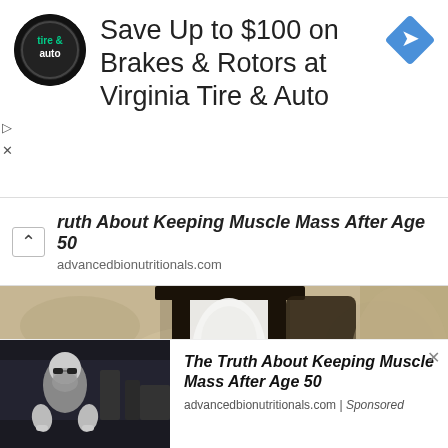[Figure (screenshot): Advertisement banner: circular tire & auto logo on left, blue diamond arrow icon on right]
Save Up to $100 on Brakes & Rotors at Virginia Tire & Auto
⌃ ruth About Keeping Muscle Mass After Age 50
advancedbionutritionals.com
[Figure (photo): Close-up photo of a black metal outdoor wall lantern with a white light bulb, mounted on a textured stucco wall]
[Figure (photo): Thumbnail of an older man with beard in a gym]
The Truth About Keeping Muscle Mass After Age 50
advancedbionutritionals.com | Sponsored